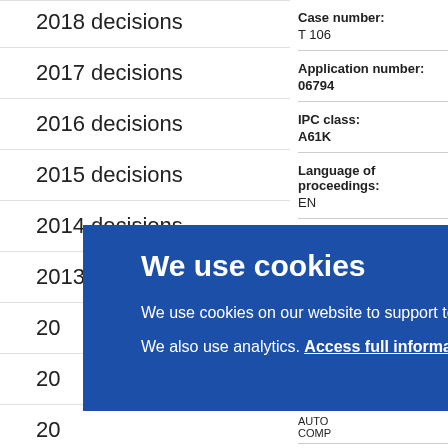2018 decisions
2017 decisions
2016 decisions
2015 decisions
2014 decisions
2013 decisions
20[truncated]
20[truncated]
20[truncated]
20[truncated]
20[truncated]
20[truncated]
| Field | Value |
| --- | --- |
| Case number: | T 106 |
| Application number: | 06794 |
| IPC class: | A61K |
| Language of proceedings: | EN |
| Distribution: | D |
| Download and more information: | D |
| Bibli |  |
| Versi |  |
|  | AUTO COMP |
|  | GE H |
|  | - |
We use cookies
We use cookies on our website to support technical features that enhance your user experience. We also use analytics. Access full information on cookies that we use and how to manage them